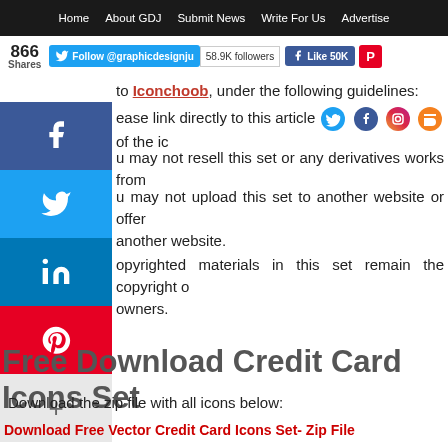Home  About GDJ  Submit News  Write For Us  Advertise
866 Shares
Follow @graphicdesignju  58.9K followers  Like 50K
ease link directly to this article or share of the ic
u may not resell this set or any derivatives works from
u may not upload this set to another website or offer another website.
opyrighted materials in this set remain the copyright of owners.
Free Download Credit Card Icons Set
Download the zip file with all icons below:
Download Free Vector Credit Card Icons Set- Zip File